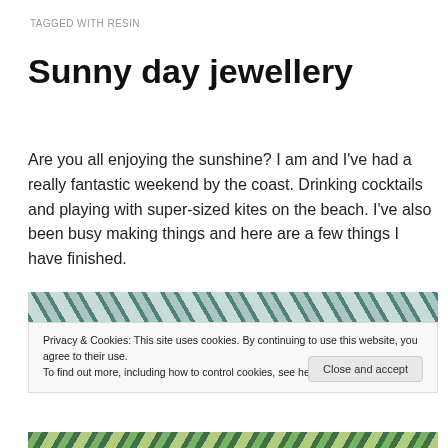TAGGED WITH RESIN
Sunny day jewellery
Are you all enjoying the sunshine? I am and I’ve had a really fantastic weekend by the coast. Drinking cocktails and playing with super-sized kites on the beach. I’ve also been busy making things and here are a few things I have finished.
[Figure (photo): Top portion of a photo showing a decorative fabric or tile pattern with blue and cream swirling motifs, partially visible]
Privacy & Cookies: This site uses cookies. By continuing to use this website, you agree to their use.
To find out more, including how to control cookies, see here: Cookie Policy
[Figure (photo): Bottom portion of a photo showing a green and gold decorative pattern]